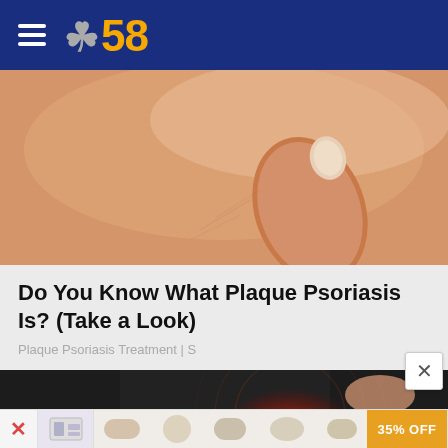CBS58
[Figure (photo): Close-up photograph of a hand/thumb pressing on skin, illustrating plaque psoriasis skin condition]
Do You Know What Plaque Psoriasis Is? (Take a Look)
Plaque Psoriasis Treatment | S
[Figure (photo): Person wearing black clothing with a glowing red/orange pain highlight on knee or hip area, suggesting joint pain or arthritis]
[Figure (other): Advertisement banner showing 35% OFF promotional offer with product images]